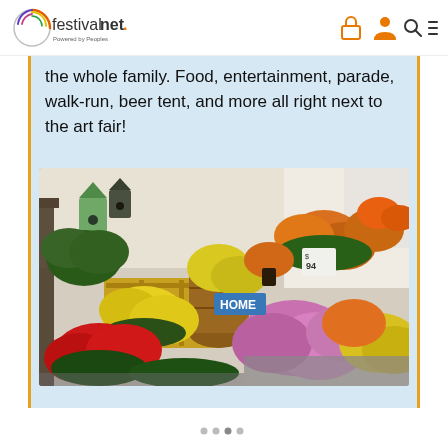[Figure (logo): FestivalNet logo - circular spiral graphic with 'festivalnet.' text and 'Powered by Peoples' tagline]
[Figure (other): Navigation icons: lock/cart (orange), person (orange), search (dark), hamburger menu (dark)]
the whole family. Food, entertainment, parade, walk-run, beer tent, and more all right next to the art fair!
[Figure (photo): Outdoor flower market booth displaying colorful mums and flowers in yellow, orange, red, and purple/pink, arranged on wooden crates under a tent canopy]